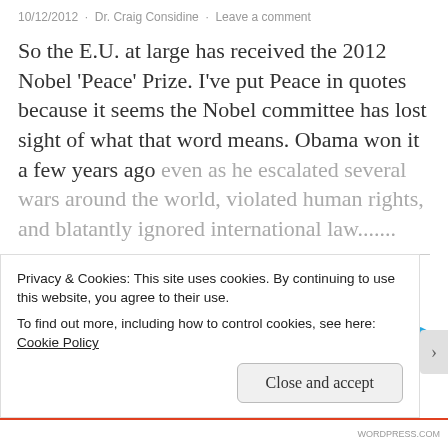10/12/2012 · Dr. Craig Considine · Leave a comment
So the E.U. at large has received the 2012 Nobel 'Peace' Prize. I've put Peace in quotes because it seems the Nobel committee has lost sight of what that word means. Obama won it a few years ago even as he escalated several wars around the world, violated human rights, and blatantly ignored international law.......
Continue reading
Share on:
Privacy & Cookies: This site uses cookies. By continuing to use this website, you agree to their use.
To find out more, including how to control cookies, see here: Cookie Policy
Close and accept